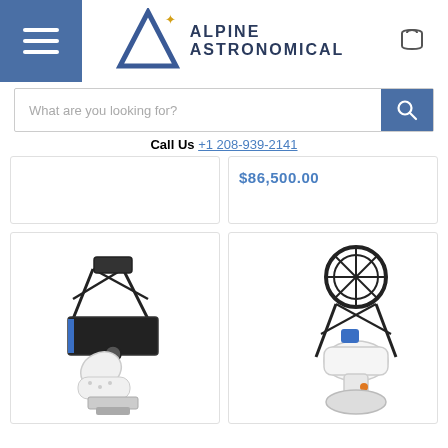[Figure (logo): Alpine Astronomical logo with stylized 'A' mountain shape and star, with text ALPINE ASTRONOMICAL]
[Figure (screenshot): Search bar with placeholder text 'What are you looking for?' and a blue search button with magnifying glass icon]
Call Us +1 208-939-2141
$86,500.00
[Figure (photo): Telescope on a mount - truss tube Dobsonian style telescope in white and black]
[Figure (photo): Telescope on a robotic mount - open truss reflector telescope on a white computerized equatorial mount]